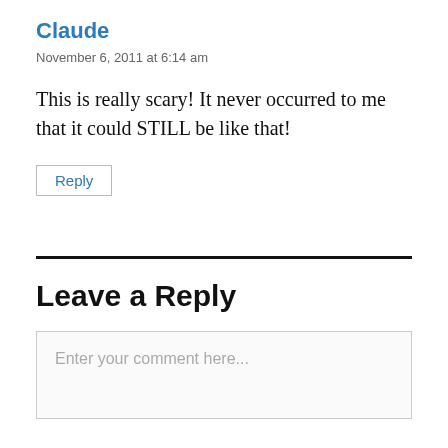Claude
November 6, 2011 at 6:14 am
This is really scary! It never occurred to me that it could STILL be like that!
Reply
Leave a Reply
Enter your comment here...